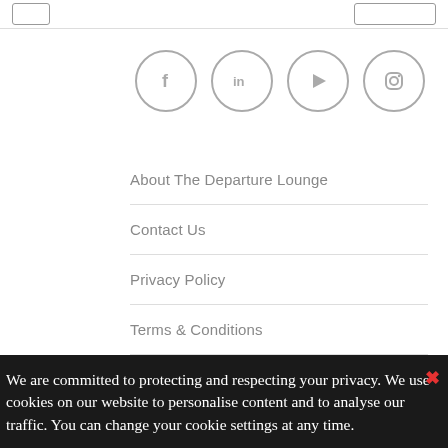[Figure (other): Social media icon circles for Facebook, LinkedIn, YouTube, and Instagram]
About The Departure Lounge
Contact Us
Privacy Policy
Terms & Conditions
We are committed to protecting and respecting your privacy. We use cookies on our website to personalise content and to analyse our traffic. You can change your cookie settings at any time.